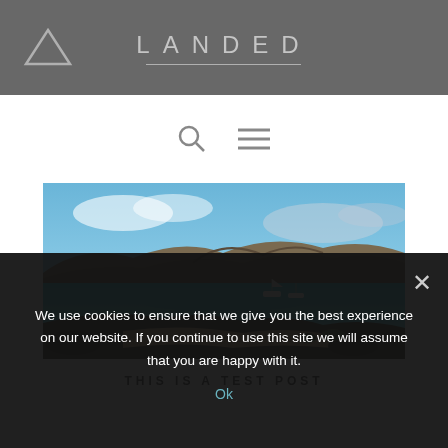LANDED
[Figure (logo): Triangle logo icon on left of header bar]
[Figure (screenshot): Navigation bar with search icon and hamburger menu icon]
[Figure (photo): Tropical coastal scene with turquoise water, boats anchored in a bay, rocky arid hillsides, sandy beach, and blue sky with clouds]
THIS IS A TEST POST
We use cookies to ensure that we give you the best experience on our website. If you continue to use this site we will assume that you are happy with it.
Ok